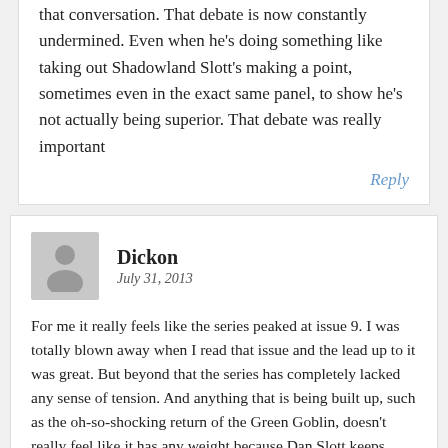that conversation. That debate is now constantly undermined. Even when he's doing something like taking out Shadowland Slott's making a point, sometimes even in the exact same panel, to show he's not actually being superior. That debate was really important
Reply
Dickon
July 31, 2013
For me it really feels like the series peaked at issue 9. I was totally blown away when I read that issue and the lead up to it was great. But beyond that the series has completely lacked any sense of tension. And anything that is being built up, such as the oh-so-shocking return of the Green Goblin, doesn't really feel like it has any weight because Dan Slott keeps dropping his Deus Ex Machina all over the place.